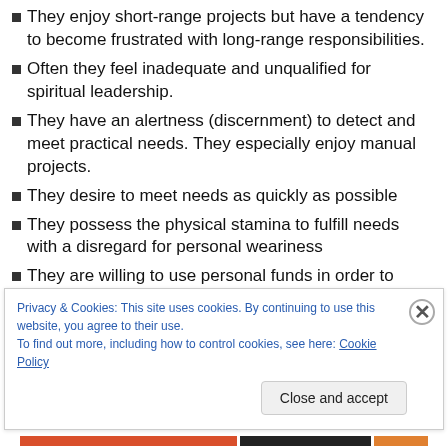They enjoy short-range projects but have a tendency to become frustrated with long-range responsibilities.
Often they feel inadequate and unqualified for spiritual leadership.
They have an alertness (discernment) to detect and meet practical needs. They especially enjoy manual projects.
They desire to meet needs as quickly as possible
They possess the physical stamina to fulfill needs with a disregard for personal weariness
They are willing to use personal funds in order to avoid
Privacy & Cookies: This site uses cookies. By continuing to use this website, you agree to their use.
To find out more, including how to control cookies, see here: Cookie Policy
Close and accept